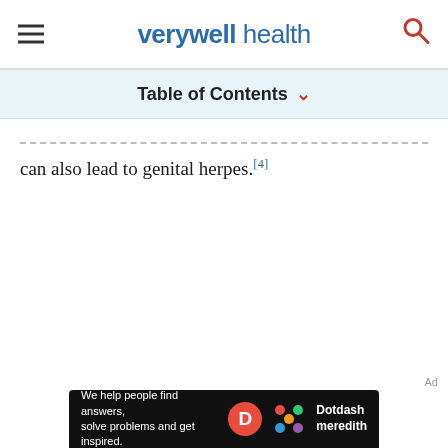verywell health
Table of Contents
can also lead to genital herpes.[4]
[Figure (other): Dotdash Meredith advertisement banner: 'We help people find answers, solve problems and get inspired.']